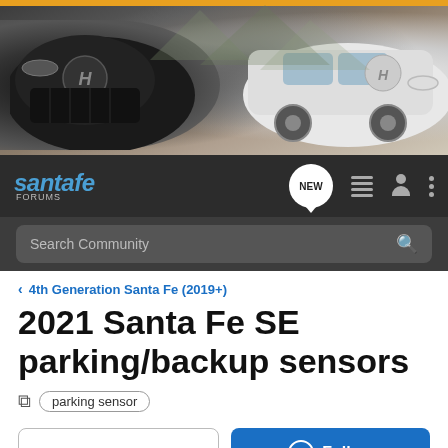[Figure (photo): Hyundai Santa Fe forum banner showing two SUVs — dark gray on the left and white on the right — against a mountain/forest background, with an orange stripe at the top.]
[Figure (screenshot): Santa Fe Forums navigation bar with logo, NEW button, list icon, person icon, and three-dot menu on dark background, plus search bar below.]
4th Generation Santa Fe (2019+)
2021 Santa Fe SE parking/backup sensors
parking sensor
→ Jump to Latest
+ Follow
1 - 7 of 7 Posts